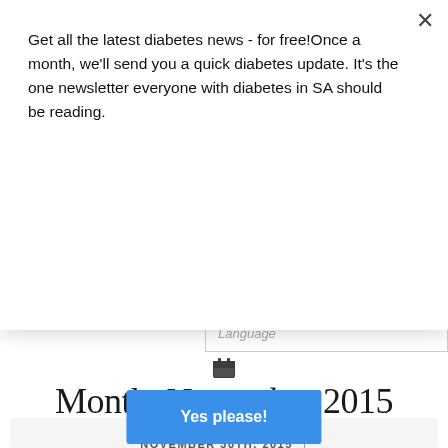Get all the latest diabetes news - for free!Once a month, we'll send you a quick diabetes update. It's the one newsletter everyone with diabetes in SA should be reading.
[Figure (other): Blue 'Yes please!' button for newsletter signup]
[Figure (other): Language selector input bar partially visible]
Month: November 2015
NOVEMBER 30TH, 2015 |